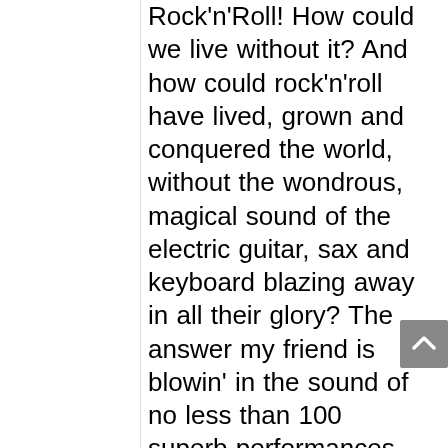Rock'n'Roll! How could we live without it? And how could rock'n'roll have lived, grown and conquered the world, without the wondrous, magical sound of the electric guitar, sax and keyboard blazing away in all their glory? The answer my friend is blowin' in the sound of no less than 100 superb performances by the pioneers of the music that changed our lives. Stand by to enjoy a CD collection that will take you on a journey back to the days when Nero And The Gladiators ruled and Duane Eddy insisted the